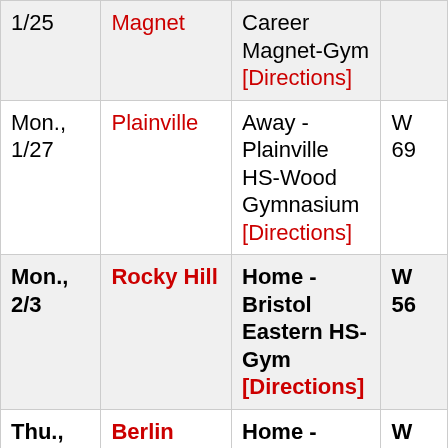| Date | Opponent | Location | Score |
| --- | --- | --- | --- |
| 1/25 | Magnet | Career Magnet-Gym [Directions] |  |
| Mon., 1/27 | Plainville | Away - Plainville HS-Wood Gymnasium [Directions] | W 69 |
| Mon., 2/3 | Rocky Hill | Home - Bristol Eastern HS-Gym [Directions] | W 56 |
| Thu., 2/6 | Berlin | Home - Bristol | W 48 |